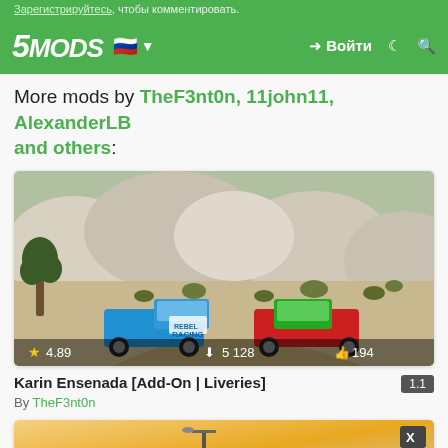Зарегистрируйтесь, чтобы комментировать.
5MODS | Войти
More mods by TheF3nt0n, 11john11, AlexanderLB and others:
[Figure (photo): Desert racing scene with two off-road trucks (blue and red/green) on a dirt track with rocky hills and desert vegetation. Stats overlay: 4.89 rating, 5 128 downloads, 194 likes.]
Karin Ensenada [Add-On | Liveries]  1.1
By TheF3nt0n
[Figure (screenshot): Partial view of another mod card showing a street scene with lamp post against a golden sky.]